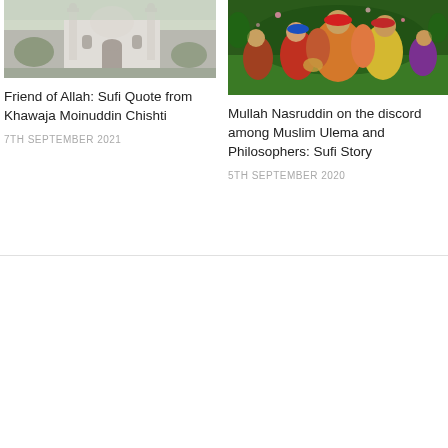[Figure (photo): Mosque or shrine building with dome and minarets, architectural photo]
Friend of Allah: Sufi Quote from Khawaja Moinuddin Chishti
7TH SEPTEMBER 2021
[Figure (photo): Colorful Mughal or Persian miniature painting depicting figures in festive scene]
Mullah Nasruddin on the discord among Muslim Ulema and Philosophers: Sufi Story
5TH SEPTEMBER 2020